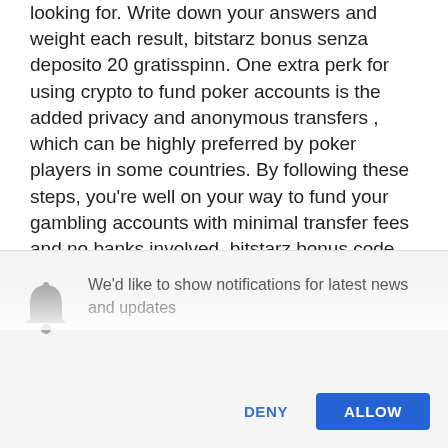looking for. Write down your answers and weight each result, bitstarz bonus senza deposito 20 gratisspinn. One extra perk for using crypto to fund poker accounts is the added privacy and anonymous transfers , which can be highly preferred by poker players in some countries. By following these steps, you're well on your way to fund your gambling accounts with minimal transfer fees and no banks involved, bitstarz bonus code freispiele. Find some trustworthy sports betting sites that accept Bitcoin. Find a reputable and gambling-friendly cryptocurrency exchange (list below). bitstarz bonus
We'd like to show notifications for latest news and updates